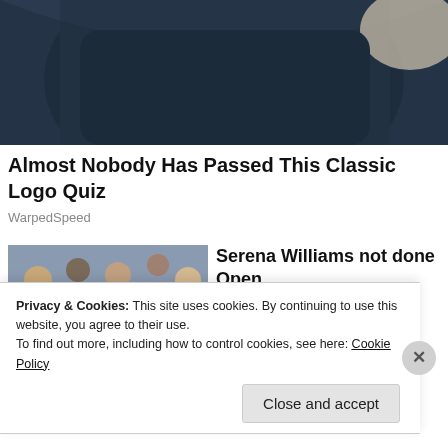[Figure (photo): Cropped photo of a person in dark navy clothing, top portion visible against a light background]
Almost Nobody Has Passed This Classic Logo Quiz
WarpedSpeed
[Figure (photo): Photo of Serena Williams on a tennis court reaching out with her arm, crowd visible in background, wearing dark outfit, with a tennis bag in foreground]
Serena Williams not done Open
The Grio
Privacy & Cookies: This site uses cookies. By continuing to use this website, you agree to their use.
To find out more, including how to control cookies, see here: Cookie Policy
Close and accept